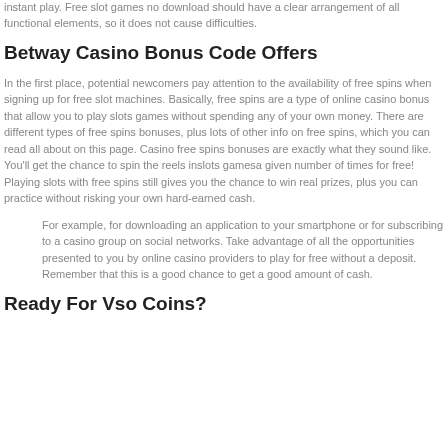instant play. Free slot games no download should have a clear arrangement of all functional elements, so it does not cause difficulties.
Betway Casino Bonus Code Offers
In the first place, potential newcomers pay attention to the availability of free spins when signing up for free slot machines. Basically, free spins are a type of online casino bonus that allow you to play slots games without spending any of your own money. There are different types of free spins bonuses, plus lots of other info on free spins, which you can read all about on this page. Casino free spins bonuses are exactly what they sound like. You'll get the chance to spin the reels inslots gamesa given number of times for free! Playing slots with free spins still gives you the chance to win real prizes, plus you can practice without risking your own hard-earned cash.
For example, for downloading an application to your smartphone or for subscribing to a casino group on social networks. Take advantage of all the opportunities presented to you by online casino providers to play for free without a deposit. Remember that this is a good chance to get a good amount of cash.
Ready For Vso Coins?